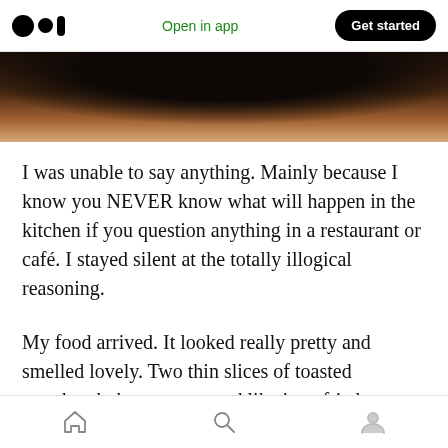Open in app | Get started
[Figure (photo): Partial view of a dark bowl or plate, photographed from above, with blurred warm background tones.]
I was unable to say anything. Mainly because I know you NEVER know what will happen in the kitchen if you question anything in a restaurant or café. I stayed silent at the totally illogical reasoning.
My food arrived. It looked really pretty and smelled lovely. Two thin slices of toasted sourdough, hummus spread like jam, fried eggs (done in a ring), and a metric sh*t tonne of
Home | Search | Profile